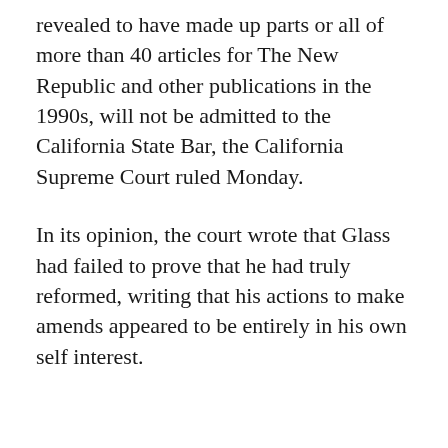revealed to have made up parts or all of more than 40 articles for The New Republic and other publications in the 1990s, will not be admitted to the California State Bar, the California Supreme Court ruled Monday.
In its opinion, the court wrote that Glass had failed to prove that he had truly reformed, writing that his actions to make amends appeared to be entirely in his own self interest.